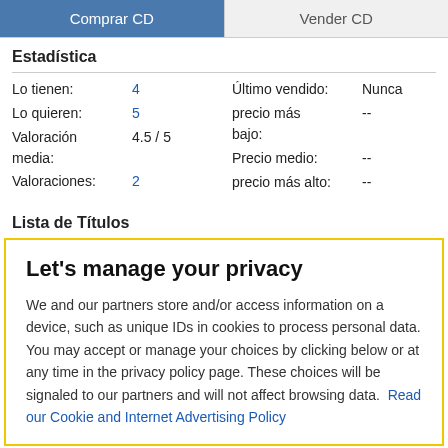Comprar CD | Vender CD
Estadística
| Lo tienen: | 4 | Último vendido: | Nunca |
| Lo quieren: | 5 | precio más bajo: | -- |
| Valoración media: | 4.5 / 5 | Precio medio: | -- |
| Valoraciones: | 2 | precio más alto: | -- |
Lista de Títulos
Let's manage your privacy
We and our partners store and/or access information on a device, such as unique IDs in cookies to process personal data. You may accept or manage your choices by clicking below or at any time in the privacy policy page. These choices will be signaled to our partners and will not affect browsing data. Read our Cookie and Internet Advertising Policy